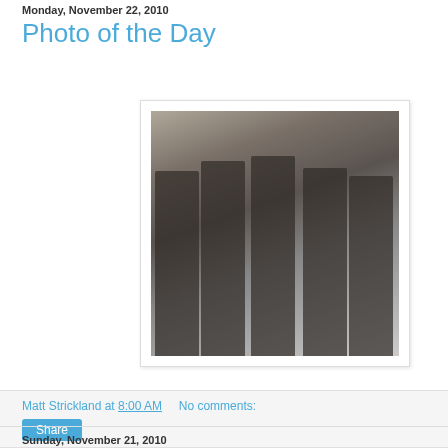Monday, November 22, 2010
Photo of the Day
[Figure (photo): Black and white photograph of five women in overalls/dungarees walking together outdoors, trees visible in background.]
Matt Strickland at 8:00 AM     No comments:
Share
Sunday, November 21, 2010
Black Sign Melton Wool "Railroad